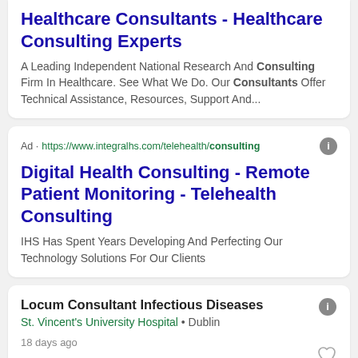Healthcare Consultants - Healthcare Consulting Experts
A Leading Independent National Research And Consulting Firm In Healthcare. See What We Do. Our Consultants Offer Technical Assistance, Resources, Support And...
Ad · https://www.integralhs.com/telehealth/consulting
Digital Health Consulting - Remote Patient Monitoring - Telehealth Consulting
IHS Has Spent Years Developing And Perfecting Our Technology Solutions For Our Clients
Locum Consultant Infectious Diseases
St. Vincent's University Hospital • Dublin
18 days ago
Locum Consultant Radiologist